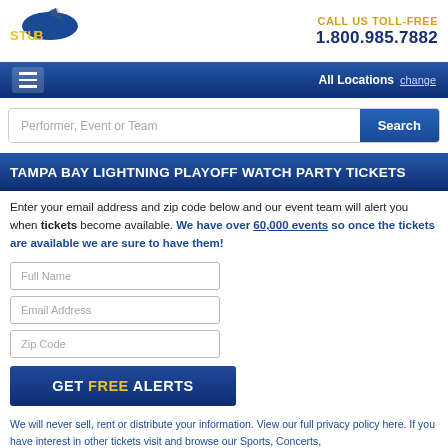[Figure (logo): StubPass logo with shark fin and stylized text]
CALL US TOLL-FREE 1.800.985.7882
All Locations change
Performer, Event or Team Search
TAMPA BAY LIGHTNING PLAYOFF WATCH PARTY TICKETS
Enter your email address and zip code below and our event team will alert you when tickets become available. We have over 60,000 events so once the tickets are available we are sure to have them!
Full Name
Email Address
Zip Code
GET FREE ALERTS
We will never sell, rent or distribute your information. View our full privacy policy here. If you have interest in other tickets visit and browse our Sports, Concerts,